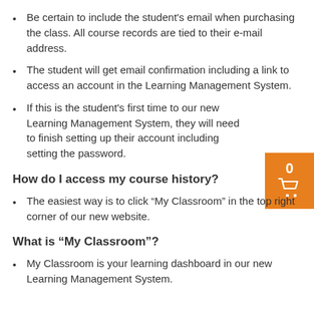Be certain to include the student's email when purchasing the class. All course records are tied to their e-mail address.
The student will get email confirmation including a link to access an account in the Learning Management System.
If this is the student's first time to our new Learning Management System, they will need to finish setting up their account including setting the password.
How do I access my course history?
The easiest way is to click "My Classroom" in the top right corner of our new website.
What is “My Classroom”?
My Classroom is your learning dashboard in our new Learning Management System.